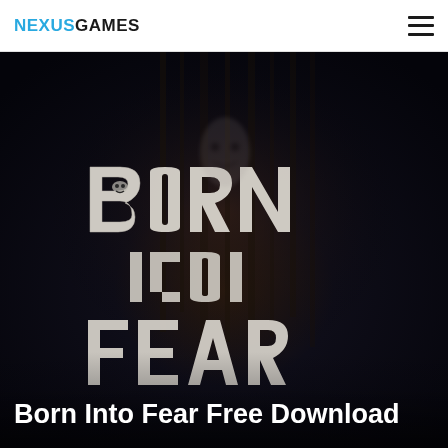NEXUSGAMES
[Figure (illustration): Dark horror game promotional image showing the 'Born Into Fear' game logo rendered in a distressed, hand-drawn white typography style on a very dark navy/black background, with a shadowy sinister figure incorporated into the lettering.]
Born Into Fear Free Download